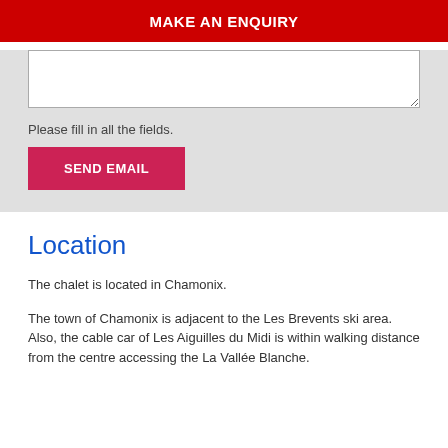MAKE AN ENQUIRY
Please fill in all the fields.
SEND EMAIL
Location
The chalet is located in Chamonix.
The town of Chamonix is adjacent to the Les Brevents ski area. Also, the cable car of Les Aiguilles du Midi is within walking distance from the centre accessing the La Vallée Blanche.